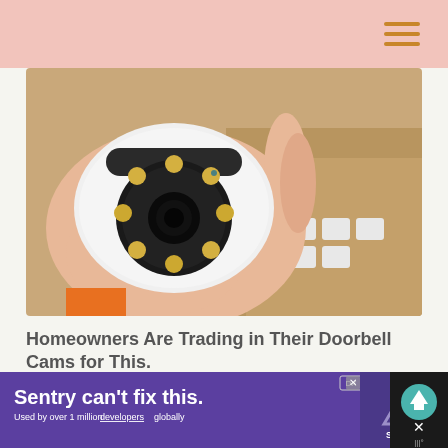[Figure (photo): A hand holding a small white dome-shaped security camera with multiple LED lights around the lens, with boxes of similar cameras in the background]
Homeowners Are Trading in Their Doorbell Cams for This.
Keilini
[Figure (photo): Dark image with what appears to be a vinyl record or dark circular object on right, chain on left]
[Figure (screenshot): Advertisement banner: Sentry can't fix this. Used by over 1 million developers globally. Sentry logo. DX badge.]